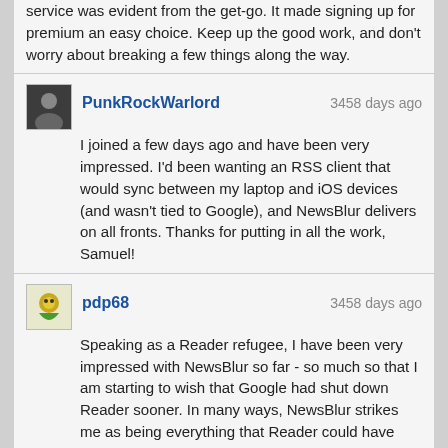service was evident from the get-go. It made signing up for premium an easy choice. Keep up the good work, and don't worry about breaking a few things along the way.
PunkRockWarlord — 3458 days ago
I joined a few days ago and have been very impressed. I'd been wanting an RSS client that would sync between my laptop and iOS devices (and wasn't tied to Google), and NewsBlur delivers on all fronts. Thanks for putting in all the work, Samuel!
pdp68 — 3458 days ago
Speaking as a Reader refugee, I have been very impressed with NewsBlur so far - so much so that I am starting to wish that Google had shut down Reader sooner. In many ways, NewsBlur strikes me as being everything that Reader could have been.
kworr — 3458 days ago
Maybe you need some help? I have some skills on nginx/freebsd/pgsql and making sites go stable on the high load (not just extremely high, like 2kk request per day).
raorn — 3458 days ago
You did a great job, Samuel! dev.newsblur.com is something I always wanted. Already fell in love with "intelligent training" feature.